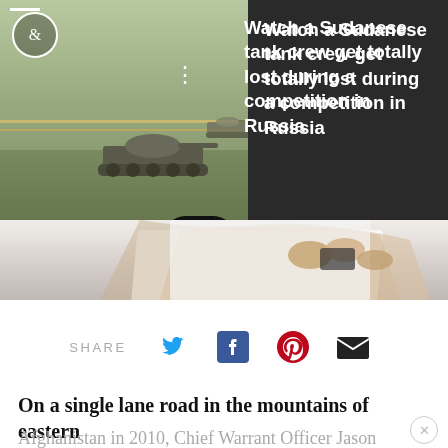[Figure (photo): Video thumbnail split: left side shows a tank on a field/track, right dark panel with white text about a Sudanese tank crew competition. Below shows person's hands/shirt. Overlay controls visible (logo, dots, X, arrow button).]
Watch a Sudanese tank crew get totally lost during a competition in Russia
[Figure (infographic): Social share bar with SHARE label and icons for Twitter, Facebook, Pinterest, Email]
SHARE
On a single lane road in the mountains of eastern
Afghanistan in 2010, Chief Warrant Officer Jason Myers' patrol was ambushed by nearly 100 Taliban